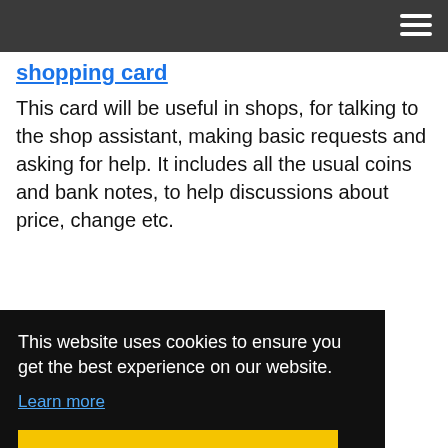Navigation bar with hamburger menu
shopping card
This card will be useful in shops, for talking to the shop assistant, making basic requests and asking for help. It includes all the usual coins and bank notes, to help discussions about price, change etc.
This website uses cookies to ensure you get the best experience on our website.
Learn more
Got it!
who, why, what, when Alpha